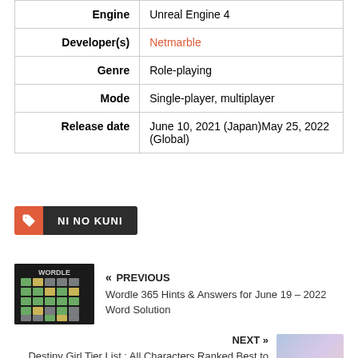| Field | Value |
| --- | --- |
| Engine | Unreal Engine 4 |
| Developer(s) | Netmarble |
| Genre | Role-playing |
| Mode | Single-player, multiplayer |
| Release date | June 10, 2021 (Japan)May 25, 2022 (Global) |
NI NO KUNI
« PREVIOUS
Wordle 365 Hints & Answers for June 19 – 2022 Word Solution
NEXT »
Destiny Girl Tier List : All Characters Ranked Best to Worst